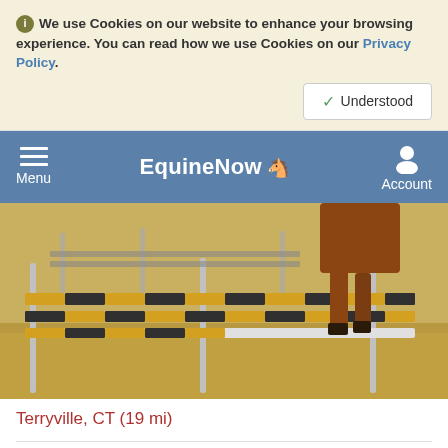We use Cookies on our website to enhance your browsing experience. You can read how we use Cookies on our Privacy Policy.
Understood
EquineNow - Menu | Account
[Figure (photo): A horse jumping over striped poles (yellow, black, white) in a sandy arena. Only the horse's legs and lower body are visible mid-jump.]
Terryville, CT (19 mi)
| Breed | Gender | Color | Height (hh) |
| --- | --- | --- | --- |
| Paint | Gelding | Bay | 16.0 |